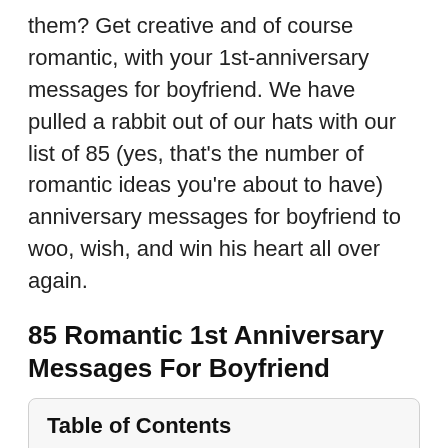them? Get creative and of course romantic, with your 1st-anniversary messages for boyfriend. We have pulled a rabbit out of our hats with our list of 85 (yes, that's the number of romantic ideas you're about to have) anniversary messages for boyfriend to woo, wish, and win his heart all over again.
85 Romantic 1st Anniversary Messages For Boyfriend
| Table of Contents |
| 1. 85 Romantic 1st Anniversary Messages For Boyfriend |
| 2. Funny 1st Anniversary Messages For Boyfriend |